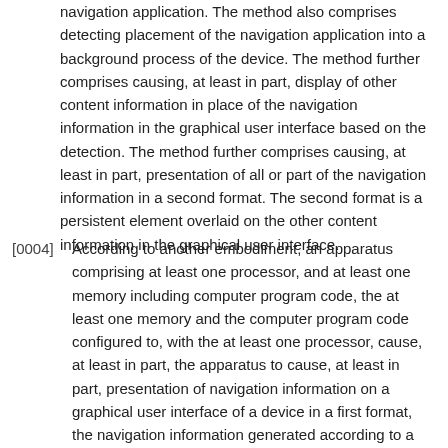navigation application. The method also comprises detecting placement of the navigation application into a background process of the device. The method further comprises causing, at least in part, display of other content information in place of the navigation information in the graphical user interface based on the detection. The method further comprises causing, at least in part, presentation of all or part of the navigation information in a second format. The second format is a persistent element overlaid on the other content information in the graphical user interface.
[0004] According to another embodiment, an apparatus comprising at least one processor, and at least one memory including computer program code, the at least one memory and the computer program code configured to, with the at least one processor, cause, at least in part, the apparatus to cause, at least in part, presentation of navigation information on a graphical user interface of a device in a first format, the navigation information generated according to a navigation application.